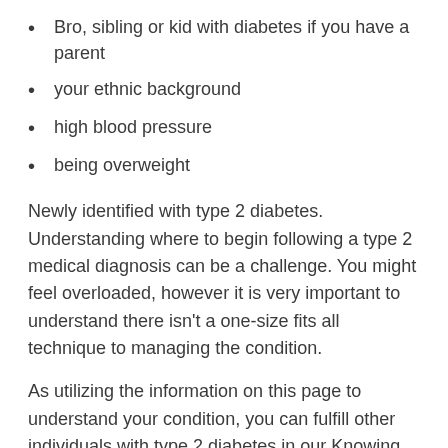Bro, sibling or kid with diabetes if you have a parent
your ethnic background
high blood pressure
being overweight
Newly identified with type 2 diabetes. Understanding where to begin following a type 2 medical diagnosis can be a challenge. You might feel overloaded, however it is very important to understand there isn't a one-size fits all technique to managing the condition.
As utilizing the information on this page to understand your condition, you can fulfill other individuals with type 2 diabetes in our Knowing Zone. You'll hear guidance from others in your position, and get practical tools to assist you feel more positive handling your condition. r pancreas